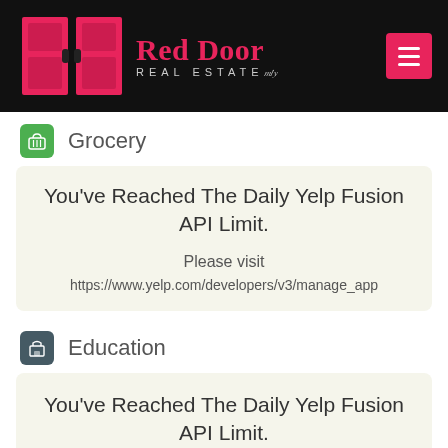[Figure (logo): Red Door Real Estate logo with red door icon on black header background, and hamburger menu button]
Grocery
You've Reached The Daily Yelp Fusion API Limit.

Please visit
https://www.yelp.com/developers/v3/manage_app
Education
You've Reached The Daily Yelp Fusion API Limit.